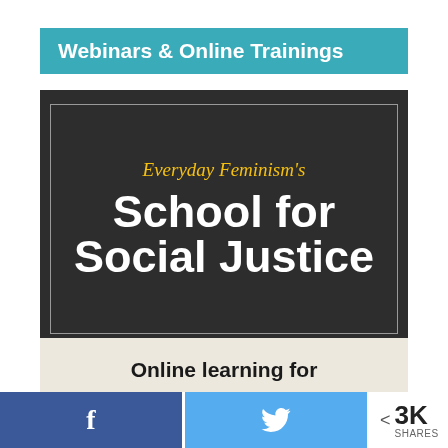Webinars & Online Trainings
[Figure (illustration): Everyday Feminism's School for Social Justice promotional image on dark background with inner border. Script text 'Everyday Feminism's' in gold/yellow italic at top, large bold white text 'School for Social Justice' below, and partial text 'Online learning for' on lighter background at bottom.]
Online learning for
f
< 3K SHARES